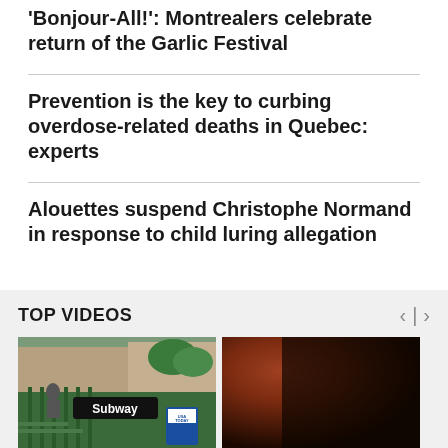'Bonjour-All!': Montrealers celebrate return of the Garlic Festival
Prevention is the key to curbing overdose-related deaths in Quebec: experts
Alouettes suspend Christophe Normand in response to child luring allegation
TOP VIDEOS
[Figure (photo): Photo of a subway station entrance with green metal railings, a 'Subway' sign, and a USA Today newspaper box]
[Figure (photo): Dark photo with reddish-brown tones, partially visible]